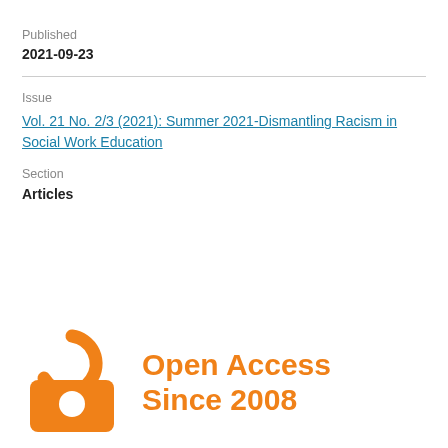Published
2021-09-23
Issue
Vol. 21 No. 2/3 (2021): Summer 2021-Dismantling Racism in Social Work Education
Section
Articles
[Figure (logo): Open Access logo (orange padlock/circle icon) with text 'Open Access Since 2008' in orange]